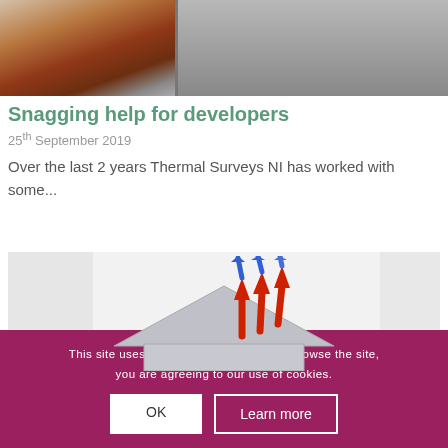[Figure (photo): Photo of a brick building exterior with driveway, partially visible]
Snagging help for developers
25th September 2019
Over the last 2 years Thermal Surveys NI has worked with some...
[Figure (illustration): Illustration of a house roof with red and blue arrows indicating heat loss through the roof]
This site uses cookies. By continuing to browse the site, you are agreeing to our use of cookies.
OK
Learn more